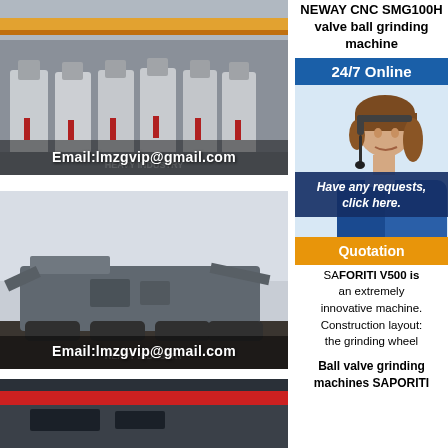NEWAY CNC SMG100H valve ball grinding machine
[Figure (photo): Industrial facility with row of large cone crushers/grinding machines, email overlay: Email:lmzgvip@gmail.com]
[Figure (photo): Mobile jaw crusher machine outdoors, email overlay: Email:lmzgvip@gmail.com]
[Figure (photo): Partial view of industrial equipment with red stripe]
[Figure (photo): Customer service representative with headset - 24/7 Online chat widget]
Have any requests, click here.
Quotation
SAFORITI V500 is an extremely innovative machine. Construction layout: the grinding wheel
Ball valve grinding machines SAPORITI